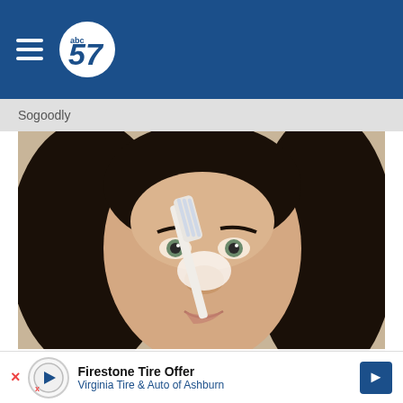abc57
Sogoodly
[Figure (photo): Woman using a toothbrush on her nose, close-up beauty/skincare content]
Do This Immediately if You Have Moles or Skin Tags, ×
Firestone Tire Offer
Virginia Tire & Auto of Ashburn